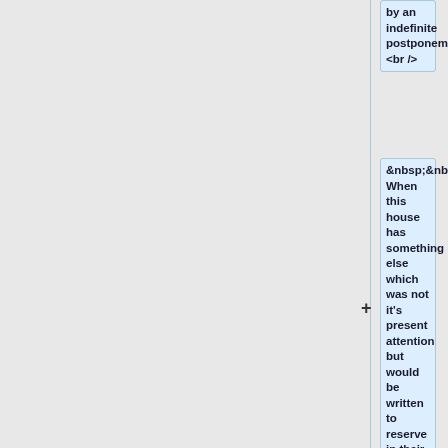by an indefinite postponement <br />
&nbsp;&nbsp;&nbsp;&nbsp;4. When this house has something else which was not it's present attention but would be written to reserve in their power to take up a proposition whenever it shall suit them, they order it to <u>lie on the table</u> it may